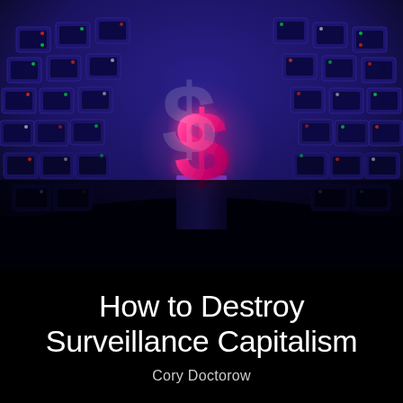[Figure (illustration): Book cover illustration showing a curved corridor of dark server racks or lockers with small colored indicator lights, rendered in deep blue/purple tones. In the center foreground stands a glowing pink/magenta dollar sign ($) on a pedestal. The background has green lighting at the top edges fading into the dark blue scene. The overall atmosphere is dark and digital.]
How to Destroy Surveillance Capitalism
Cory Doctorow